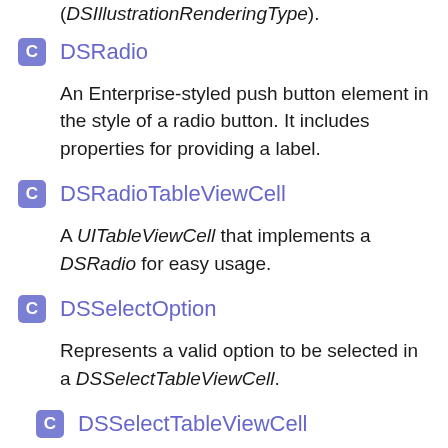(DSIllustrationRenderingType).
DSRadio
An Enterprise-styled push button element in the style of a radio button. It includes properties for providing a label.
DSRadioTableViewCell
A UITableViewCell that implements a DSRadio for easy usage.
DSSelectOption
Represents a valid option to be selected in a DSSelectTableViewCell.
DSSelectTableViewCell